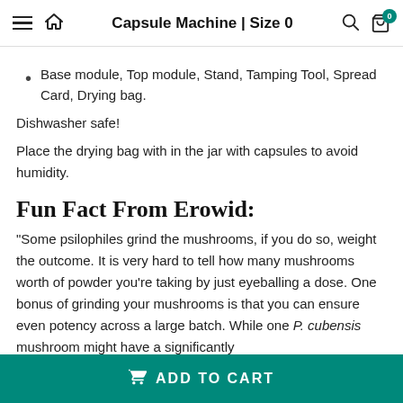Capsule Machine | Size 0
Base module, Top module, Stand, Tamping Tool, Spread Card, Drying bag.
Dishwasher safe!
Place the drying bag with in the jar with capsules to avoid humidity.
Fun Fact From Erowid:
"Some psilophiles grind the mushrooms, if you do so, weight the outcome. It is very hard to tell how many mushrooms worth of powder you’re taking by just eyeballing a dose. One bonus of grinding your mushrooms is that you can ensure even potency across a large batch. While one P. cubensis mushroom might have a significantly
ADD TO CART